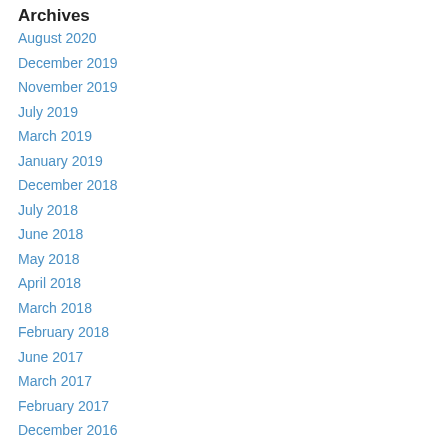Archives
August 2020
December 2019
November 2019
July 2019
March 2019
January 2019
December 2018
July 2018
June 2018
May 2018
April 2018
March 2018
February 2018
June 2017
March 2017
February 2017
December 2016
June 2016
May 2016